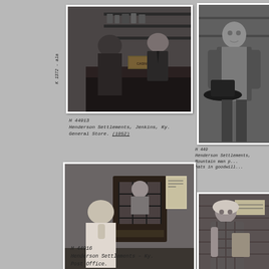[Figure (photo): Black and white photo of two men at a counter inside a general store, shelves of goods visible in background. Label on box reads 'General Store'.]
K 1372 - ala
H 44913
Henderson Settlements, Jenkins, Ky.
General Store. (1952)
[Figure (photo): Black and white photo of a man standing holding a hat, wearing a jacket, indoors.]
H 449
Henderson Settlements,
Mountain man p
hats in goodwill
[Figure (photo): Black and white photo of a man at a post office counter window with a woman clerk visible behind barred window. Posters visible on wall.]
H 44916
Henderson Settlements - Ky.
Post Office.
[Figure (photo): Black and white photo of a woman wearing a head covering, holding something, inside a building with wood paneling.]